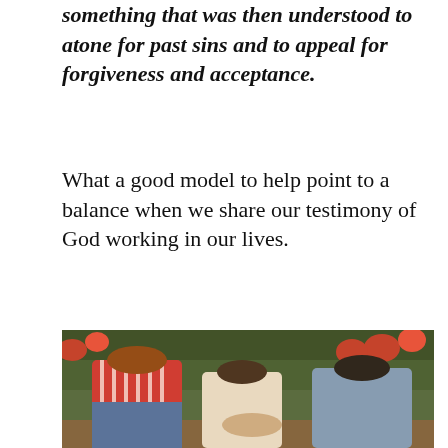something that was then understood to atone for past sins and to appeal for forgiveness and acceptance.
What a good model to help point to a balance when we share our testimony of God working in our lives.
[Figure (photo): Three women sitting together outdoors, appearing to hold hands or pray, with red tulips and green foliage in the background. One woman wears a red and white striped shirt, another wears white, and a third wears a denim jacket.]